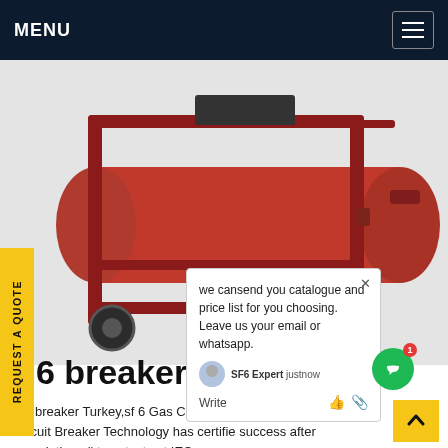MENU
[Figure (photo): Red SF6 gas circuit breaker on a wheeled frame/cart, industrial equipment photo on white background with a chat popup overlay]
REQUEST A QUOTE
we cansend you catalogue and price list for you choosing. Leave us your email or whatsapp.
SF6 Expert   justnow
Write
6 breaker Turkey
sf6 breaker Turkey,sf 6 Gas Circuit Breaker. Elim sf 6 Gas Circuit Breaker Technology has certifie success after completing all type tests at IEC